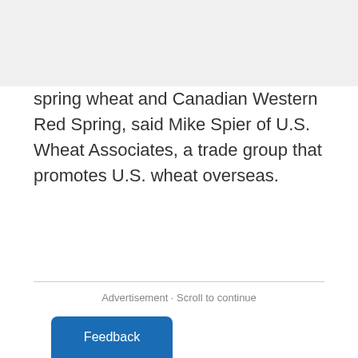spring wheat and Canadian Western Red Spring, said Mike Spier of U.S. Wheat Associates, a trade group that promotes U.S. wheat overseas.
Advertisement · Scroll to continue
Feedback